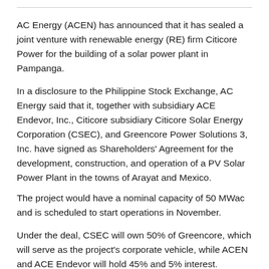AC Energy (ACEN) has announced that it has sealed a joint venture with renewable energy (RE) firm Citicore Power for the building of a solar power plant in Pampanga.
In a disclosure to the Philippine Stock Exchange, AC Energy said that it, together with subsidiary ACE Endevor, Inc., Citicore subsidiary Citicore Solar Energy Corporation (CSEC), and Greencore Power Solutions 3, Inc. have signed as Shareholders' Agreement for the development, construction, and operation of a PV Solar Power Plant in the towns of Arayat and Mexico.
The project would have a nominal capacity of 50 MWac and is scheduled to start operations in November.
Under the deal, CSEC will own 50% of Greencore, which will serve as the project's corporate vehicle, while ACEN and ACE Endevor will hold 45% and 5% interest.